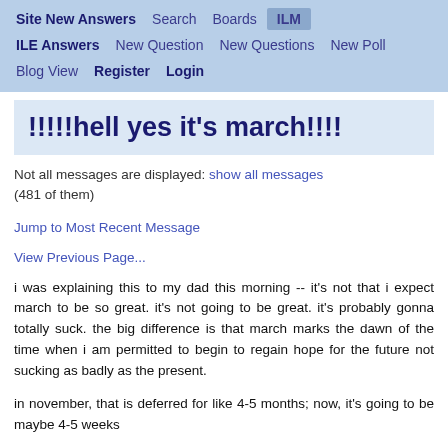Site New Answers   Search   Boards   ILM
ILE Answers   New Question   New Questions   New Poll
Blog View   Register   Login
!!!!!hell yes it's march!!!!
Not all messages are displayed: show all messages
(481 of them)
Jump to Most Recent Message
View Previous Page...
i was explaining this to my dad this morning -- it's not that i expect march to be so great. it's not going to be great. it's probably gonna totally suck. the big difference is that march marks the dawn of the time when i am permitted to begin to regain hope for the future not sucking as badly as the present.
in november, that is deferred for like 4-5 months; now, it's going to be maybe 4-5 weeks
however shitty the forecast is for the next few weeks,